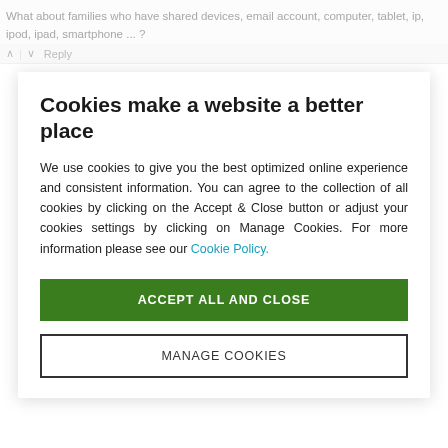What about families who have shared devices, email account, computer, tablet, ip, ipod, ipad, smartphone ... ?
^ | v  Reply
Cookies make a website a better place
We use cookies to give you the best optimized online experience and consistent information. You can agree to the collection of all cookies by clicking on the Accept & Close button or adjust your cookies settings by clicking on Manage Cookies. For more information please see our Cookie Policy.
ACCEPT ALL AND CLOSE
MANAGE COOKIES